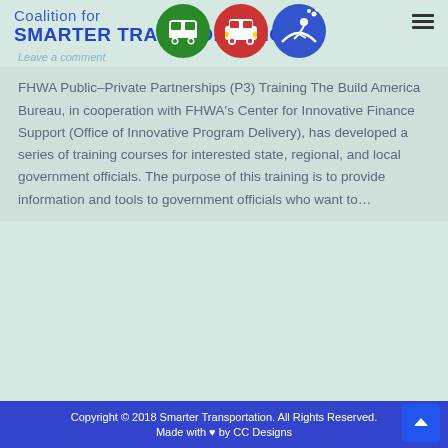[Figure (logo): Coalition for Smarter Transportation logo with three circular icons (bus/green, car/red, bicycle+tech/blue) and text 'Coalition for SMARTER TRANSPORTATION']
Leave a comment
FHWA Public–Private Partnerships (P3) Training The Build America Bureau, in cooperation with FHWA's Center for Innovative Finance Support (Office of Innovative Program Delivery), has developed a series of training courses for interested state, regional, and local government officials. The purpose of this training is to provide information and tools to government officials who want to…
Copyright © 2018 Smarter Transportation. All Rights Reserved. Made with ♥ by CC Designs